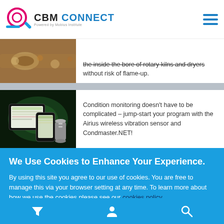CBM CONNECT — Powered by Mobius Institute
[Figure (photo): Partial view of bolts/metal hardware image (cropped article thumbnail)]
the inside the bore of rotary kilns and dryers without risk of flame-up.
[Figure (photo): Tablet and smartphone showing software interface with green background]
Condition monitoring doesn't have to be complicated – jump-start your program with the Airius wireless vibration sensor and Condmaster.NET!
We Use Cookies to Enhance Your Experience.
By using this site you agree to our use of cookies. You are free to manage this via your browser setting at any time. To learn more about how we use the cookies please see our cookies policy.
Accept & Close
Navigation bar with filter, user, and search icons